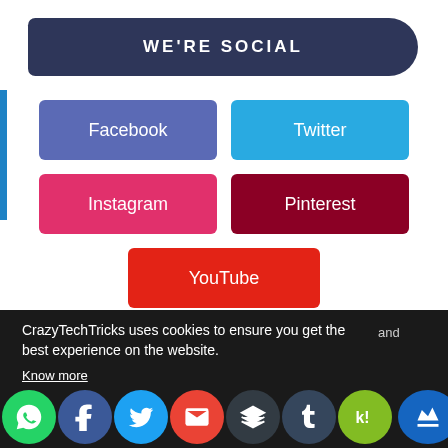WE'RE SOCIAL
Facebook
Twitter
Instagram
Pinterest
YouTube
CrazyTechTricks uses cookies to ensure you get the best experience on the website.
Know more
and
OKAY
cy
[Figure (infographic): Social media share icon bar with WhatsApp, Facebook, Twitter, Gmail, Buffer, Tumblr, Kik, and a crown icon]